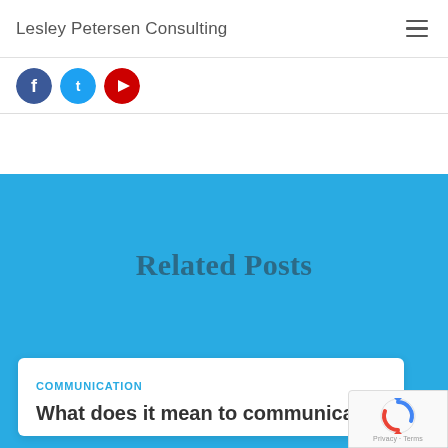Lesley Petersen Consulting
[Figure (screenshot): Social media sharing icons: Facebook (blue circle), Twitter (light blue circle), YouTube (red circle)]
Related Posts
COMMUNICATION
What does it mean to communicate